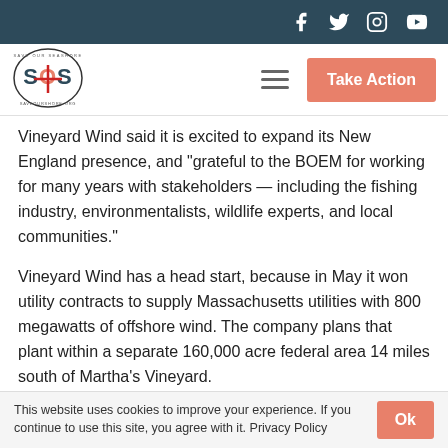SOS — Take Action navigation bar with social icons
Vineyard Wind said it is excited to expand its New England presence, and “grateful to the BOEM for working for many years with stakeholders — including the fishing industry, environmentalists, wildlife experts, and local communities.”
Vineyard Wind has a head start, because in May it won utility contracts to supply Massachusetts utilities with 800 megawatts of offshore wind. The company plans that plant within a separate 160,000 acre federal area 14 miles south of Martha’s Vineyard.
This website uses cookies to improve your experience. If you continue to use this site, you agree with it. Privacy Policy